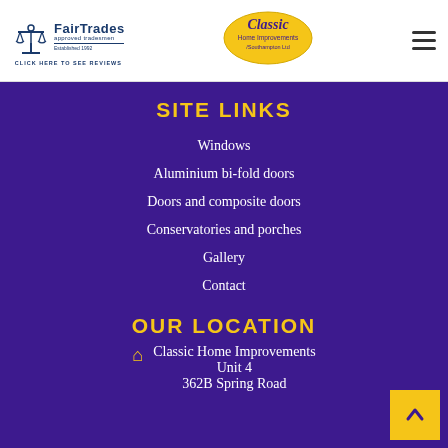[Figure (logo): FairTrades approved tradesmen logo with scales icon and text 'CLICK HERE TO SEE REVIEWS']
[Figure (logo): Classic Home Improvements Southampton Ltd logo — yellow oval with purple cursive text]
[Figure (other): Hamburger menu icon (three horizontal lines)]
SITE LINKS
Windows
Aluminium bi-fold doors
Doors and composite doors
Conservatories and porches
Gallery
Contact
OUR LOCATION
Classic Home Improvements
Unit 4
362B Spring Road